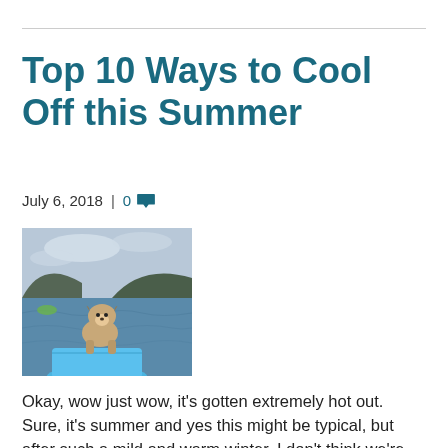Top 10 Ways to Cool Off this Summer
July 6, 2018  |  0 💬
[Figure (photo): A small dog (chihuahua mix) standing on the front of a blue kayak on a lake, with hills in the background and overcast sky.]
Okay, wow just wow, it's gotten extremely hot out. Sure, it's summer and yes this might be typical, but after such a mild and warm winter, I don't think we're